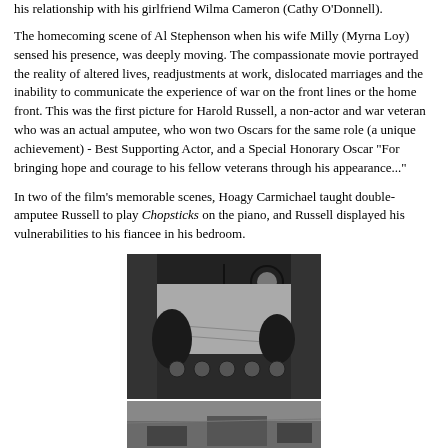his relationship with his girlfriend Wilma Cameron (Cathy O'Donnell).
The homecoming scene of Al Stephenson when his wife Milly (Myrna Loy) sensed his presence, was deeply moving. The compassionate movie portrayed the reality of altered lives, readjustments at work, dislocated marriages and the inability to communicate the experience of war on the front lines or the home front. This was the first picture for Harold Russell, a non-actor and war veteran who was an actual amputee, who won two Oscars for the same role (a unique achievement) - Best Supporting Actor, and a Special Honorary Oscar "For bringing hope and courage to his fellow veterans through his appearance..."
In two of the film's memorable scenes, Hoagy Carmichael taught double-amputee Russell to play Chopsticks on the piano, and Russell displayed his vulnerabilities to his fiancee in his bedroom.
[Figure (photo): Black and white photograph taken from inside an aircraft cockpit looking forward, showing the instrument panel and view through the windshield over a landscape below.]
[Figure (photo): Black and white photograph, partially visible at bottom of page, showing an aerial or outdoor scene.]